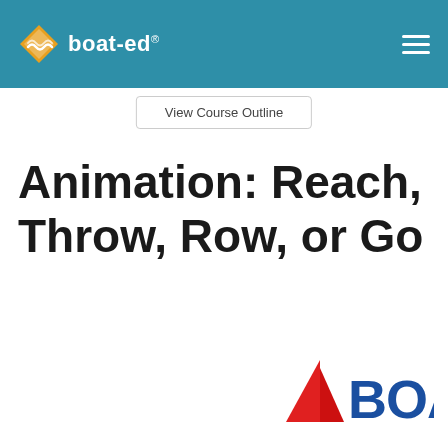boat-ed®
View Course Outline
Animation: Reach, Throw, Row, or Go
[Figure (logo): BOAT US Foundation logo — red sailboat sail with blue BOAT text]